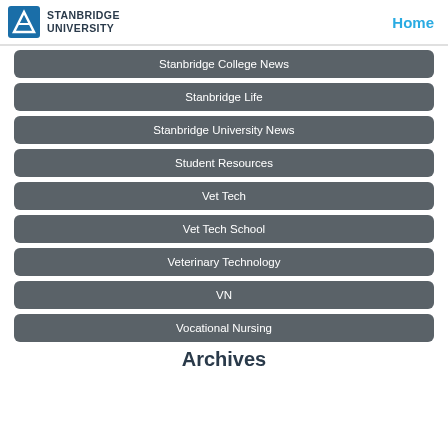STANBRIDGE UNIVERSITY
Stanbridge College News
Stanbridge Life
Stanbridge University News
Student Resources
Vet Tech
Vet Tech School
Veterinary Technology
VN
Vocational Nursing
Archives